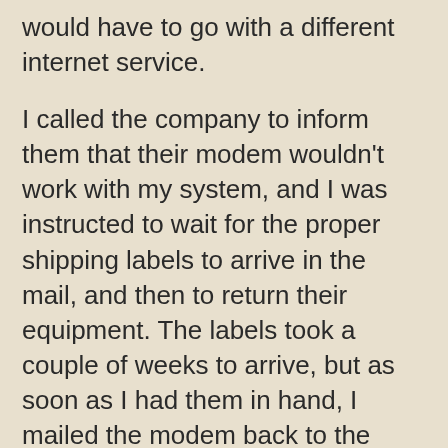would have to go with a different internet service.
I called the company to inform them that their modem wouldn't work with my system, and I was instructed to wait for the proper shipping labels to arrive in the mail, and then to return their equipment. The labels took a couple of weeks to arrive, but as soon as I had them in hand, I mailed the modem back to the company. Imagine my surprise when I received a bill from this company for two months use of their service!
I was a little upset, needless to say, but a phone call cleared it all up, and I put the entire incident out of my mind.
One day, months later, I decided to call the